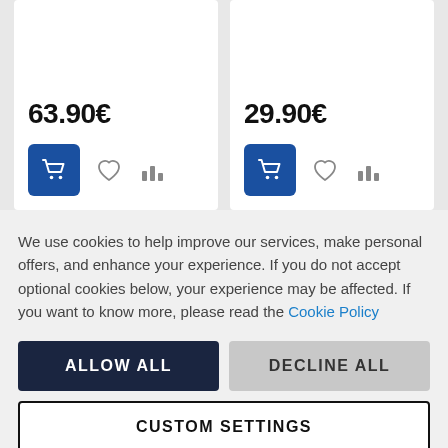63.90€
29.90€
We use cookies to help improve our services, make personal offers, and enhance your experience. If you do not accept optional cookies below, your experience may be affected. If you want to know more, please read the Cookie Policy
ALLOW ALL
DECLINE ALL
CUSTOM SETTINGS